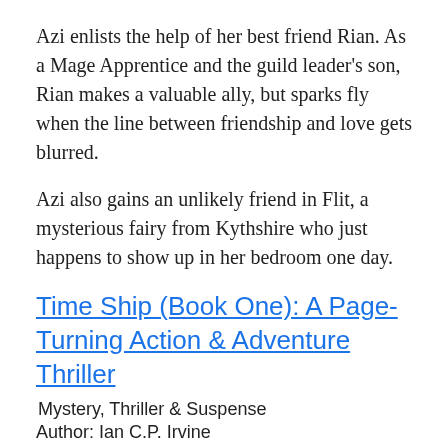Azi enlists the help of her best friend Rian. As a Mage Apprentice and the guild leader’s son, Rian makes a valuable ally, but sparks fly when the line between friendship and love gets blurred.
Azi also gains an unlikely friend in Flit, a mysterious fairy from Kythshire who just happens to show up in her bedroom one day.
Time Ship (Book One): A Page-Turning Action & Adventure Thriller
Mystery, Thriller & Suspense
Author: Ian C.P. Irvine
FREE
[Figure (photo): Book cover of Time Ship by Ian C.P. Irvine, dark background with white bold text reading IAN C.P. IRVINE and TIME SHIP]